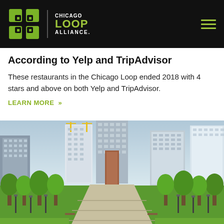Chicago Loop Alliance
According to Yelp and TripAdvisor
These restaurants in the Chicago Loop ended 2018 with 4 stars and above on both Yelp and TripAdvisor.
LEARN MORE »
[Figure (photo): Chicago downtown skyline viewed from a park with green trees lining a walkway, tall residential and commercial skyscrapers in the background including buildings under construction with yellow cranes.]